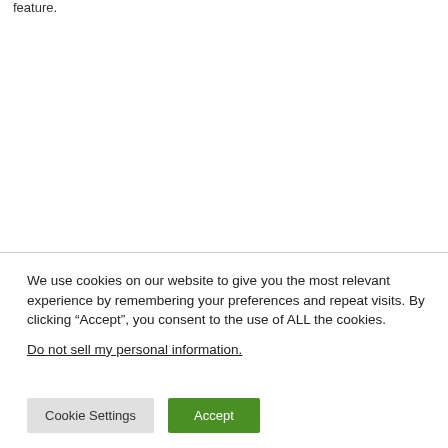feature.
We use cookies on our website to give you the most relevant experience by remembering your preferences and repeat visits. By clicking “Accept”, you consent to the use of ALL the cookies.
Do not sell my personal information.
Cookie Settings
Accept